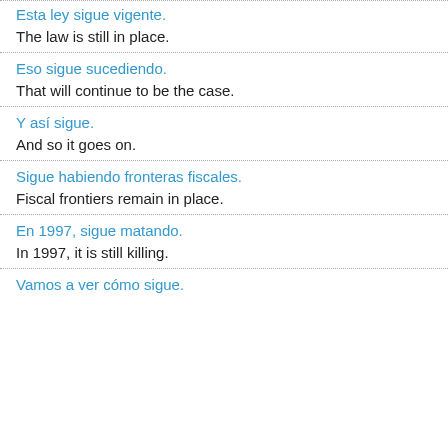Esta ley sigue vigente.
The law is still in place.
Eso sigue sucediendo.
That will continue to be the case.
Y así sigue.
And so it goes on.
Sigue habiendo fronteras fiscales.
Fiscal frontiers remain in place.
En 1997, sigue matando.
In 1997, it is still killing.
Vamos a ver cómo sigue.